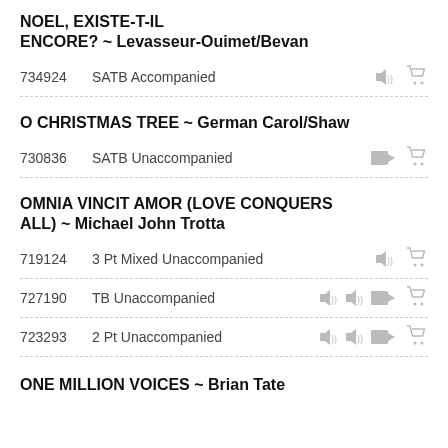NOEL, EXISTE-T-IL ENCORE? ~ Levasseur-Ouimet/Bevan
734924   SATB Accompanied
O CHRISTMAS TREE ~ German Carol/Shaw
730836   SATB Unaccompanied
OMNIA VINCIT AMOR (LOVE CONQUERS ALL) ~ Michael John Trotta
719124   3 Pt Mixed Unaccompanied
727190   TB Unaccompanied
723293   2 Pt Unaccompanied
ONE MILLION VOICES ~ Brian Tate